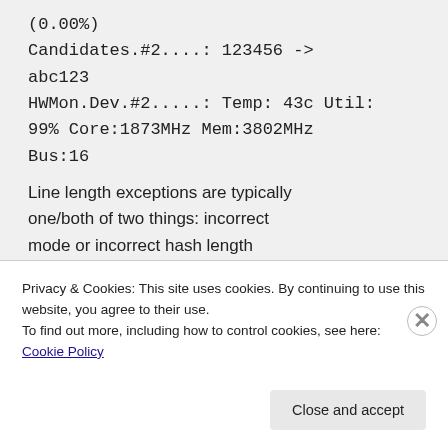(0.00%)
Candidates.#2....: 123456 -> abc123
HWMon.Dev.#2.....: Temp: 43c Util: 99% Core:1873MHz Mem:3802MHz Bus:16
Line length exceptions are typically one/both of two things: incorrect mode or incorrect hash length received (i.e. typo/wrong format).
Privacy & Cookies: This site uses cookies. By continuing to use this website, you agree to their use.
To find out more, including how to control cookies, see here: Cookie Policy